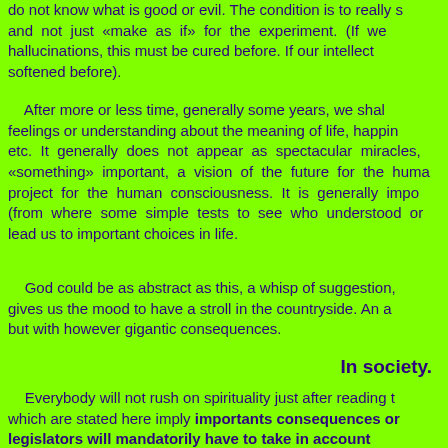do not know what is good or evil. The condition is to really s and not just «make as if» for the experiment. (If we hallucinations, this must be cured before. If our intellect softened before).
After more or less time, generally some years, we shal feelings or understanding about the meaning of life, happin etc. It generally does not appear as spectacular miracles, «something» important, a vision of the future for the huma project for the human consciousness. It is generally impo (from where some simple tests to see who understood o lead us to important choices in life.
God could be as abstract as this, a whisp of suggestion, gives us the mood to have a stroll in the countryside. An a but with however gigantic consequences.
In society.
Everybody will not rush on spirituality just after reading t which are stated here imply importants consequences or legislators will mandatorily have to take in account havoc. More, in an information society like ours, it is pretend «not to know».